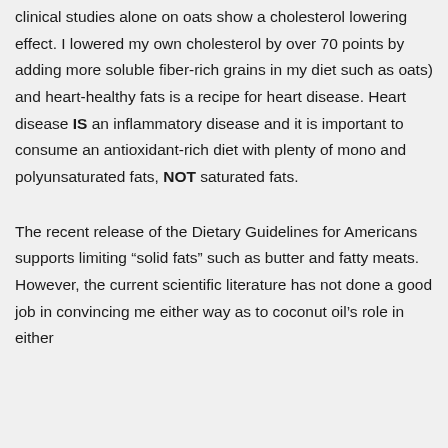clinical studies alone on oats show a cholesterol lowering effect. I lowered my own cholesterol by over 70 points by adding more soluble fiber-rich grains in my diet such as oats) and heart-healthy fats is a recipe for heart disease. Heart disease IS an inflammatory disease and it is important to consume an antioxidant-rich diet with plenty of mono and polyunsaturated fats, NOT saturated fats.
The recent release of the Dietary Guidelines for Americans supports limiting “solid fats” such as butter and fatty meats. However, the current scientific literature has not done a good job in convincing me either way as to coconut oil’s role in either